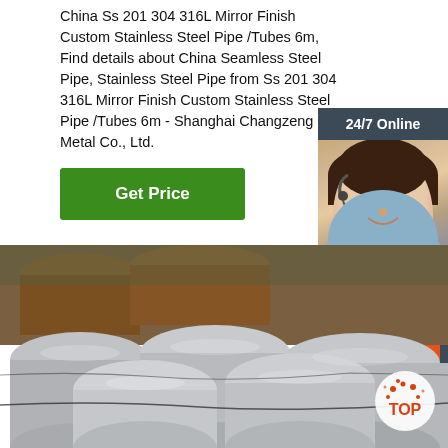China Ss 201 304 316L Mirror Finish Custom Stainless Steel Pipe /Tubes 6m, Find details about China Seamless Steel Pipe, Stainless Steel Pipe from Ss 201 304 316L Mirror Finish Custom Stainless Steel Pipe /Tubes 6m - Shanghai Changzeng Metal Co., Ltd.
[Figure (screenshot): Green 'Get Price' button]
[Figure (screenshot): 24/7 Online chat sidebar with customer service representative photo, 'Click here for free chat!' text, and orange QUOTATION button]
[Figure (photo): Photo of stainless steel pipes/tubes bundled together, with some rusty pipes in background]
[Figure (logo): TOP badge logo in bottom right corner]